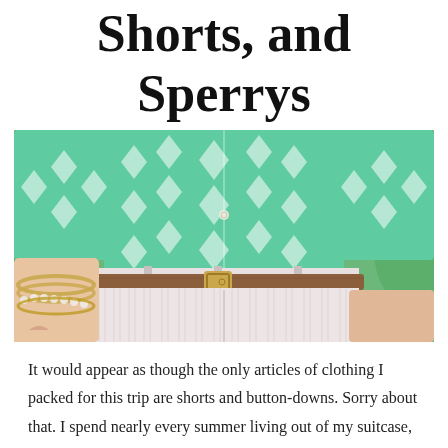Shorts, and Sperrys
[Figure (photo): Close-up photo of a person wearing a mint/turquoise ikat-patterned button-down shirt tucked into light pink seersucker shorts with a brown leather belt. Gold bracelets visible on left wrist. Hands tucked in pockets. Green foliage background.]
It would appear as though the only articles of clothing I packed for this trip are shorts and button-downs. Sorry about that. I spend nearly every summer living out of my suitcase, and by August, things start to